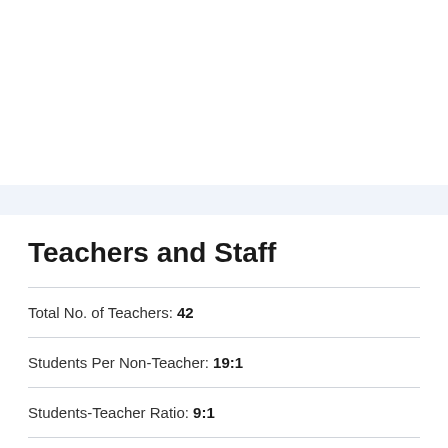Teachers and Staff
Total No. of Teachers: 42
Students Per Non-Teacher: 19:1
Students-Teacher Ratio: 9:1